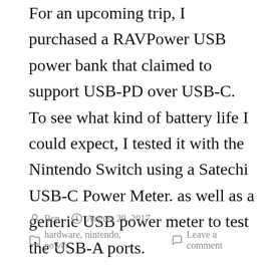For an upcoming trip, I purchased a RAVPower USB power bank that claimed to support USB-PD over USB-C. To see what kind of battery life I could expect, I tested it with the Nintendo Switch using a Satechi USB-C Power Meter. as well as a generic USB power meter to test the USB-A ports.
By Ben  August 29, 2017  hardware, nintendo, power  Leave a comment